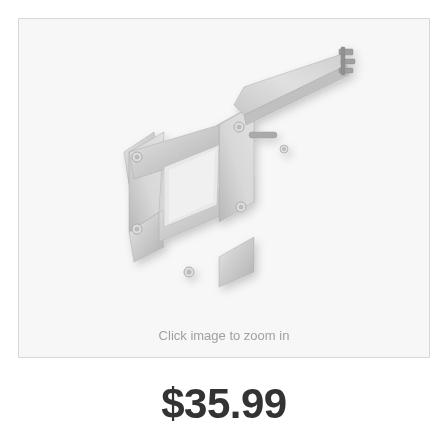[Figure (photo): A polished aluminum/chrome metal bracket or mounting plate with a square opening in the center and four bolt holes at the corners, with an extended arm going to the upper right that has small notched tabs or clips at the end. Appears to be an automotive or mechanical part.]
Click image to zoom in
$35.99